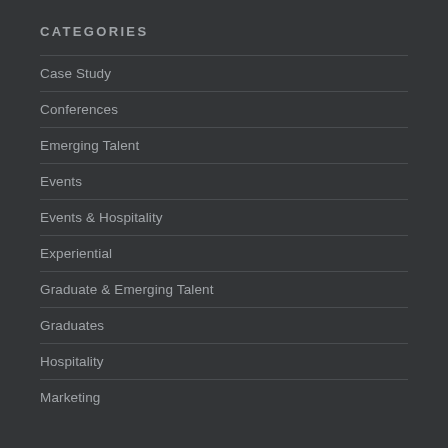CATEGORIES
Case Study
Conferences
Emerging Talent
Events
Events & Hospitality
Experiential
Graduate & Emerging Talent
Graduates
Hospitality
Marketing